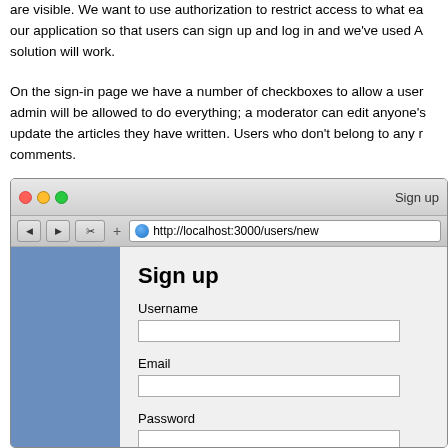are visible. We want to use authorization to restrict access to what each user can see in our application so that users can sign up and log in and we've used A… solution will work.
On the sign-in page we have a number of checkboxes to allow a user… admin will be allowed to do everything; a moderator can edit anyone's… update the articles they have written. Users who don't belong to any r… comments.
[Figure (screenshot): Mac browser window showing a Sign up page at http://localhost:3000/users/new with Username, Email, and Password fields]